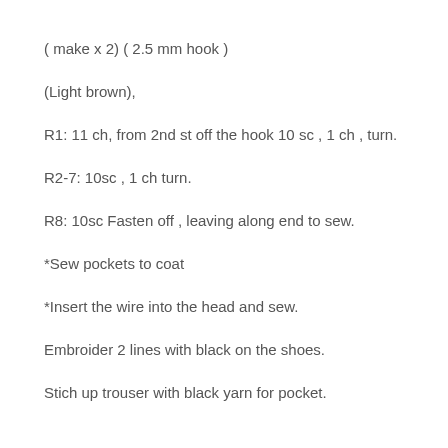( make x 2) ( 2.5 mm hook )
(Light brown),
R1: 11 ch, from 2nd st off the hook 10 sc , 1 ch , turn.
R2-7: 10sc , 1 ch turn.
R8: 10sc Fasten off , leaving along end to sew.
*Sew pockets to coat
*Insert the wire into the head and sew.
Embroider 2 lines with black on the shoes.
Stich up trouser with black yarn for pocket.